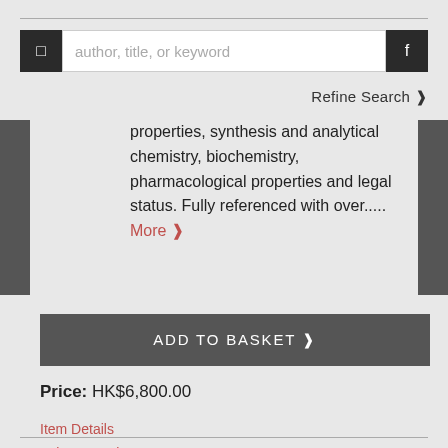[Figure (screenshot): Search bar with left icon button, text input placeholder 'author, title, or keyword', and right search icon button]
Refine Search ❯
properties, synthesis and analytical chemistry, biochemistry, pharmacological properties and legal status. Fully referenced with over..... More ❯
ADD TO BASKET ❯
Price: HK$6,800.00
Item Details
Ask a Question